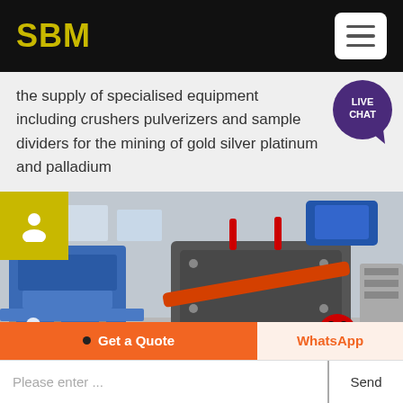SBM
the supply of specialised equipment including crushers pulverizers and sample dividers for the mining of gold silver platinum and palladium
[Figure (photo): Industrial mining equipment — a large hammer mill or crusher machine in a manufacturing facility, with blue machinery visible in the background. A yellow icon box with a user silhouette is in the upper-left corner.]
Get a Quote
WhatsApp
Please enter ...
Send